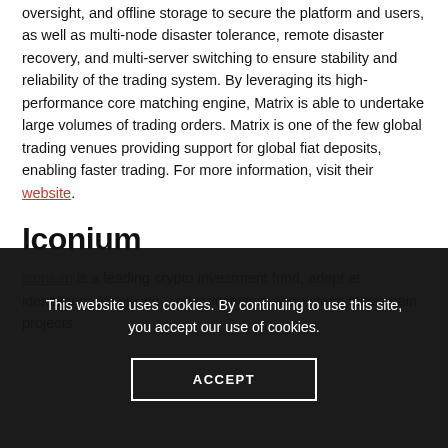oversight, and offline storage to secure the platform and users, as well as multi-node disaster tolerance, remote disaster recovery, and multi-server switching to ensure stability and reliability of the trading system. By leveraging its high-performance core matching engine, Matrix is able to undertake large volumes of trading orders. Matrix is one of the few global trading venues providing support for global fiat deposits, enabling faster trading. For more information, visit their website.
Iconium
Iconium is a leading crypto investment fund, adept at identifying, assessing, and investing in early-stage blockchain projects.
This website uses cookies. By continuing to use this site, you accept our use of cookies.